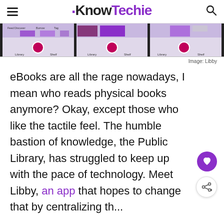KnowTechie
[Figure (screenshot): Screenshot of the Libby app showing book library interface with three panels, each showing a book cover, user avatar, and Library/Shelf navigation]
Image: Libby
eBooks are all the rage nowadays, I mean who reads physical books anymore? Okay, except those who like the tactile feel. The humble bastion of knowledge, the Public Library, has struggled to keep up with the pace of technology. Meet Libby, an app that hopes to change that by centralizing th...